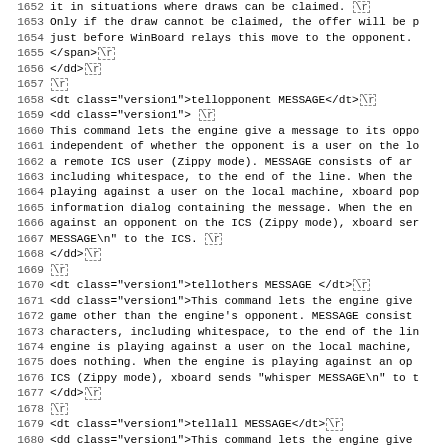Source code listing lines 1652-1683 showing HTML documentation markup for xboard/WinBoard chess engine protocol commands: tellopponent, tellothers, and tellall MESSAGE commands.